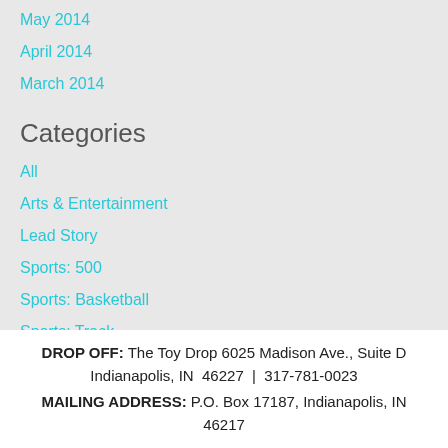May 2014
April 2014
March 2014
Categories
All
Arts & Entertainment
Lead Story
Sports: 500
Sports: Basketball
Sports: Track
RSS Feed
DROP OFF: The Toy Drop 6025 Madison Ave., Suite D Indianapolis, IN  46227  |  317-781-0023
MAILING ADDRESS: P.O. Box 17187, Indianapolis, IN 46217